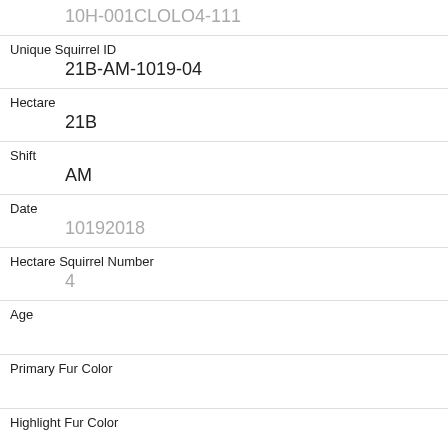| Unique Squirrel ID | 21B-AM-1019-04 |
| Hectare | 21B |
| Shift | AM |
| Date | 10192018 |
| Hectare Squirrel Number | 4 |
| Age |  |
| Primary Fur Color |  |
| Highlight Fur Color |  |
| Combination of Primary and Highlight Color | + |
| Color notes |  |